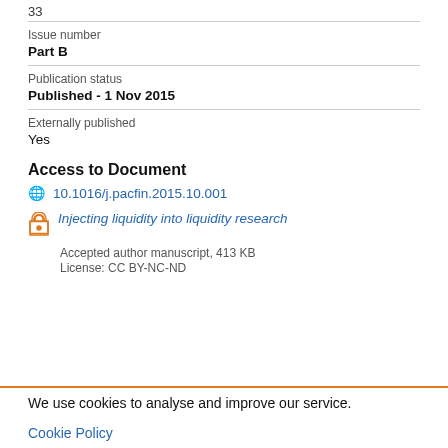33
Issue number
Part B
Publication status
Published - 1 Nov 2015
Externally published
Yes
Access to Document
10.1016/j.pacfin.2015.10.001
Injecting liquidity into liquidity research
Accepted author manuscript, 413 KB
License: CC BY-NC-ND
We use cookies to analyse and improve our service. Cookie Policy